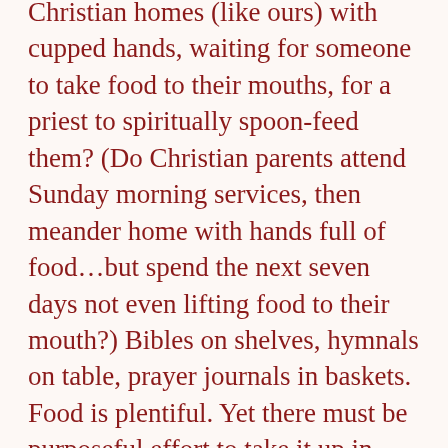Christian homes (like ours) with cupped hands, waiting for someone to take food to their mouths, for a priest to spiritually spoon-feed them? (Do Christian parents attend Sunday morning services, then meander home with hands full of food…but spend the next seven days not even lifting food to their mouth?) Bibles on shelves, hymnals on table, prayer journals in baskets. Food is plentiful. Yet there must be purposeful effort to take it up in hand. The familial priest's holy habits show how one daily lift's food to mouth.
Relationship
Yet it is not solely a mother's life or holy